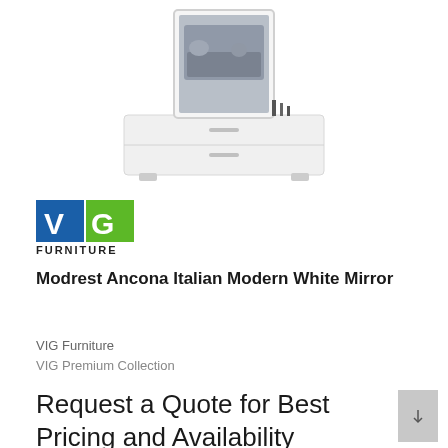[Figure (photo): White modern dresser/credenza with attached rectangular mirror, shown on white background. Decorative items on top. Product photo from VIG Furniture.]
[Figure (logo): VIG Furniture logo: V and G letters in white on blue and green squares respectively, with FURNITURE text below in dark letters.]
Modrest Ancona Italian Modern White Mirror
VIG Furniture
VIG Premium Collection
Request a Quote for Best Pricing and Availability